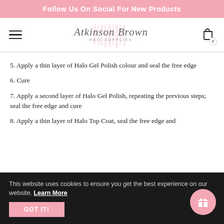Follow Us On Social For New Products
[Figure (logo): Atkinson Brown Nail Supplies logo with pink stripe background and cursive script]
5. Apply a thin layer of Halo Gel Polish colour and seal the free edge
6. Cure
7. Apply a second layer of Halo Gel Polish, repeating the previous steps; seal the free edge and cure
8. Apply a thin layer of Halo Top Coat, seal the free edge and
This website uses cookies to ensure you get the best experience on our website. Learn More
GOT IT!